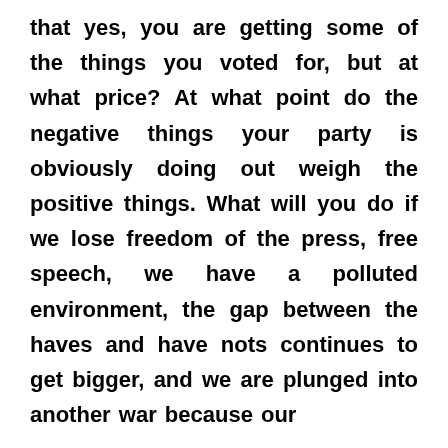that yes, you are getting some of the things you voted for, but at what price? At what point do the negative things your party is obviously doing out weigh the positive things. What will you do if we lose freedom of the press, free speech, we have a polluted environment, the gap between the haves and have nots continues to get bigger, and we are plunged into another war because our